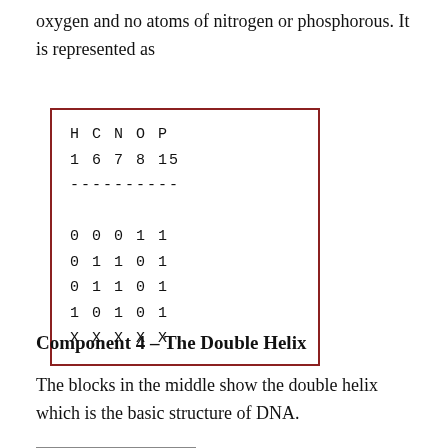oxygen and no atoms of nitrogen or phosphorous. It is represented as
| H | C | N | O | P |
| --- | --- | --- | --- | --- |
| 1 | 6 | 7 | 8 | 15 |
| ---------- |  |  |  |  |
| 0 | 0 | 0 | 1 | 1 |
| 0 | 1 | 1 | 0 | 1 |
| 0 | 1 | 1 | 0 | 1 |
| 1 | 0 | 1 | 0 | 1 |
| X | X | X | X | X |
Component 4 – The Double Helix
The blocks in the middle show the double helix which is the basic structure of DNA.